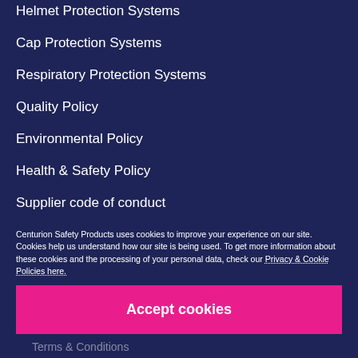Helmet Protection Systems
Cap Protection Systems
Respiratory Protection Systems
Quality Policy
Environmental Policy
Health & Safety Policy
Supplier code of conduct
Our Story
Advice
Centurion Safety Products uses cookies to improve your experience on our site. Cookies help us understand how our site is being used. To get more information about these cookies and the processing of your personal data, check our Privacy & Cookie Policies here.
Accept cookies
Terms & Conditions